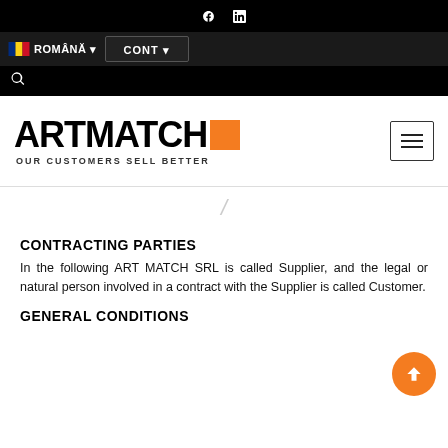ARTMATCH — OUR CUSTOMERS SELL BETTER — navigation bar with ROMÂNĂ and CONT options
[Figure (logo): ARTMATCH logo with orange square and tagline OUR CUSTOMERS SELL BETTER, plus hamburger menu icon]
CONTRACTING PARTIES
In the following ART MATCH SRL is called Supplier, and the legal or natural person involved in a contract with the Supplier is called Customer.
GENERAL CONDITIONS